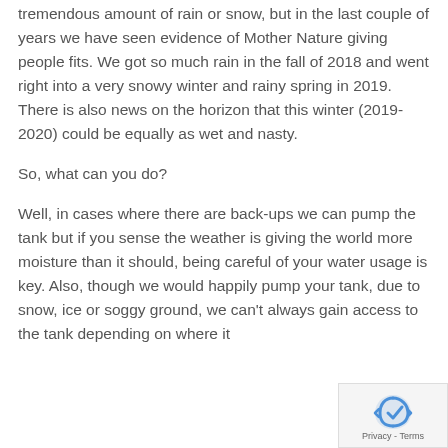tremendous amount of rain or snow, but in the last couple of years we have seen evidence of Mother Nature giving people fits.  We got so much rain in the fall of 2018 and went right into a very snowy winter and rainy spring in 2019.  There is also news on the horizon that this winter (2019-2020) could be equally as wet and nasty.
So, what can you do?
Well, in cases where there are back-ups we can pump the tank but if you sense the weather is giving the world more moisture than it should, being careful of your water usage is key.  Also, though we would happily pump your tank, due to snow, ice or soggy ground, we can't always gain access to the tank depending on where it